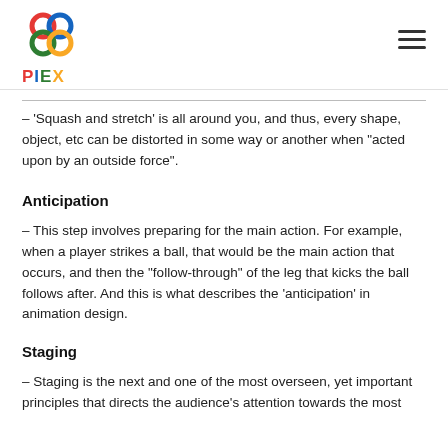PIEX
– 'Squash and stretch' is all around you, and thus, every shape, object, etc can be distorted in some way or another when "acted upon by an outside force".
Anticipation
– This step involves preparing for the main action. For example, when a player strikes a ball, that would be the main action that occurs, and then the "follow-through" of the leg that kicks the ball follows after. And this is what describes the 'anticipation' in animation design.
Staging
– Staging is the next and one of the most overseen, yet important principles that directs the audience's attention towards the most